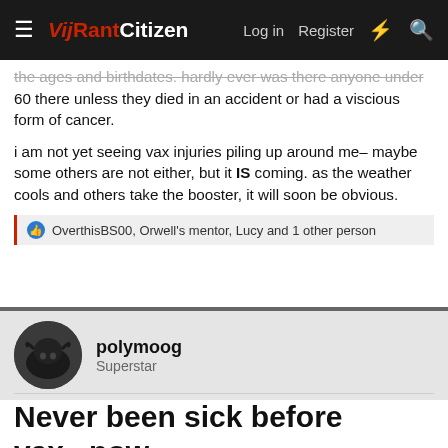VijRantCitizen — Log in   Register
the ages and birthdates. hardly ever was there anyone under 60 there unless they died in an accident or had a viscious form of cancer.
i am not yet seeing vax injuries piling up around me– maybe some others are not either, but it IS coming. as the weather cools and others take the booster, it will soon be obvious.
OverthisBS00, Orwell's mentor, Lucy and 1 other person
polymoog
Superstar
Oct 3, 2021    #1,228
Never been sick before vax...now